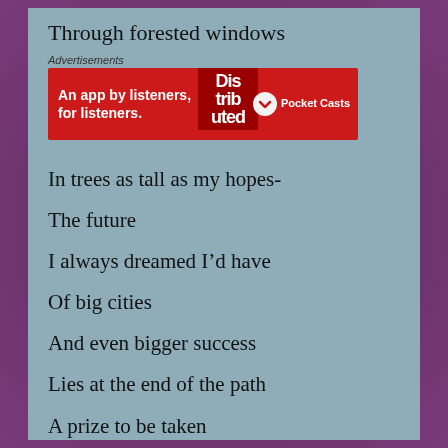Through forested windows
[Figure (other): Advertisement banner for Pocket Casts app — red background with text 'An app by listeners, for listeners.' and Pocket Casts logo with phone graphic]
In trees as tall as my hopes-
The future
I always dreamed I’d have
Of big cities
And even bigger success
Lies at the end of the path
A prize to be taken